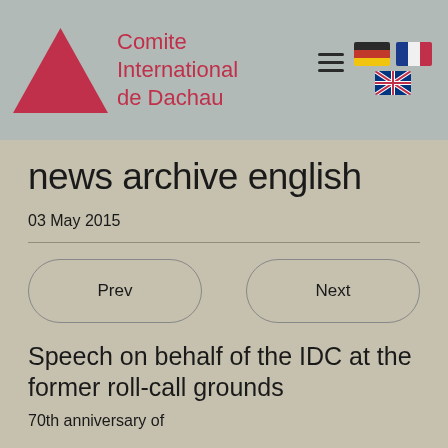Comite International de Dachau
news archive english
03 May 2015
Prev
Next
Speech on behalf of the IDC at the former roll-call grounds
70th anniversary of